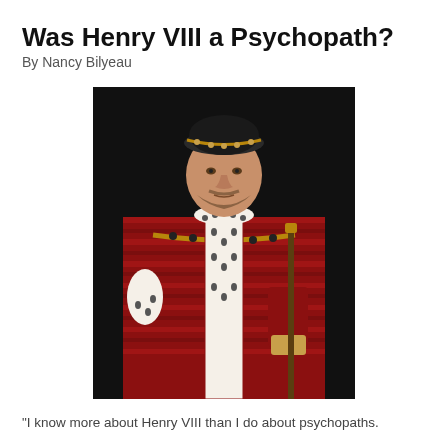Was Henry VIII a Psychopath?
By Nancy Bilyeau
[Figure (photo): Portrait painting of Henry VIII wearing ornate red and gold robes with fur trim, a black jeweled cap, holding a scepter and gloves, stern expression, dark background.]
"I know more about Henry VIII than I do about psychopaths.